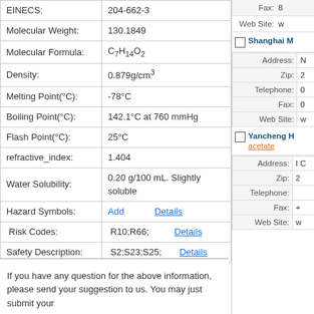| Property | Value |
| --- | --- |
| EINECS: | 204-662-3 |
| Molecular Weight: | 130.1849 |
| Molecular Formula: | C7H14O2 |
| Density: | 0.879g/cm3 |
| Melting Point(°C): | -78°C |
| Boiling Point(°C): | 142.1°C at 760 mmHg |
| Flash Point(°C): | 25°C |
| refractive_index: | 1.404 |
| Water Solubility: | 0.20 g/100 mL. Slightly soluble |
| Hazard Symbols: | Add   Details |
| Risk Codes: | R10;R66;   Details |
| Safety Description: | S2;S23;S25;   Details |
If you have any question for the above information, please send your suggestion to us. You may just submit your
| Field | Value |
| --- | --- |
| Fax: | 8... |
| Web Site: | w... |
| Shanghai M... |  |
| Address: | N... |
| Zip: | 2... |
| Telephone: | 0... |
| Fax: | 0... |
| Web Site: | w... |
| Yancheng H... acetate |  |
| Address: | I... C... |
| Zip: | 2... |
| Telephone: |  |
| Fax: | +... |
| Web Site: | w... |